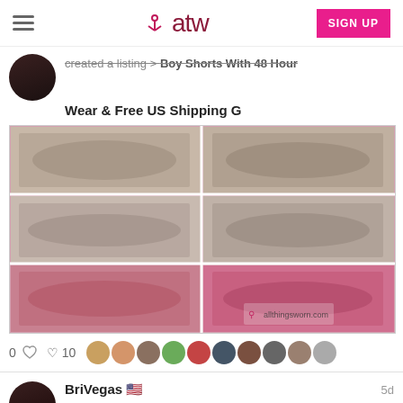atw - allthingsworn
created a listing > Boy Shorts With 48 Hour Wear & Free US Shipping G
[Figure (photo): 6-panel product photo grid showing gray and pink boy shorts clothing items, with allthingsworn.com watermark]
0 comments  ♡ 10
BriVegas 🏳️ 5d
Created a listing > Boy Shorts On A Big Bu*t. 48 Hour Wear & Free US Shipping